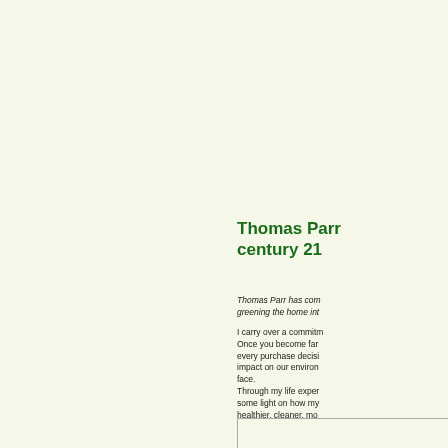Thomas Parr century 21
Thomas Parr has com greening the home int
I carry over a commitm Once you become far every purchase decisi impact on our environ face. Through my life exper some light on how my healthier, cleaner, mo